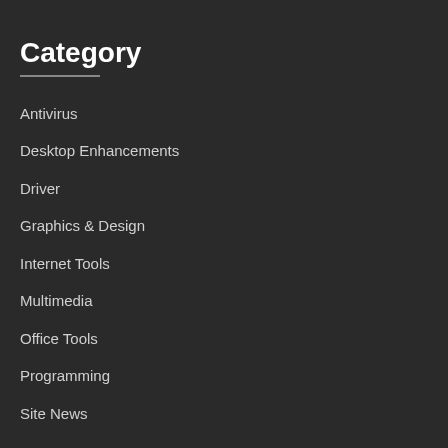Category
Antivirus
Desktop Enhancements
Driver
Graphics & Design
Internet Tools
Multimedia
Office Tools
Programming
Site News